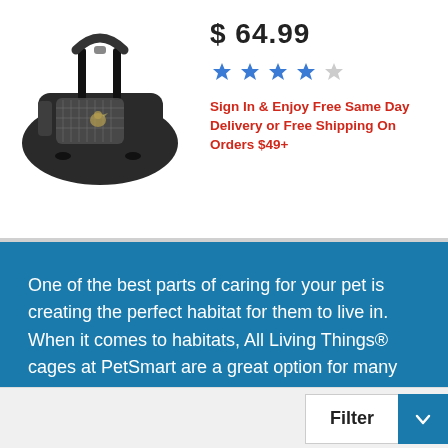[Figure (photo): Black pet carrier bag with transparent window panel and top handle, shown at an angle]
$ 64.99
[Figure (other): 4 out of 5 stars rating shown in blue stars]
Sign In & Enjoy Free Same Day Delivery or Free Shipping On Orders $49+
One of the best parts of caring for your pet is creating the perfect habitat for them to live in. When it comes to habitats, All Living Things® cages at PetSmart are a great option for many types of birds and small pets. All Living Things® also makes odour-controlling litter and bedding, healthy and natural hay, fun accessories for
[Figure (other): Chevron down arrow in a circle on blue background, indicating expandable content]
Filter